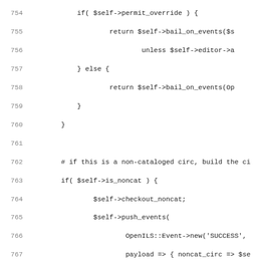[Figure (screenshot): Source code listing in monospace font showing Perl code lines 754-786, with line numbers on the left and code on the right. The code handles checkout logic including bail_on_events, noncat circs, precat copies, copy checks, and checkout scripts.]